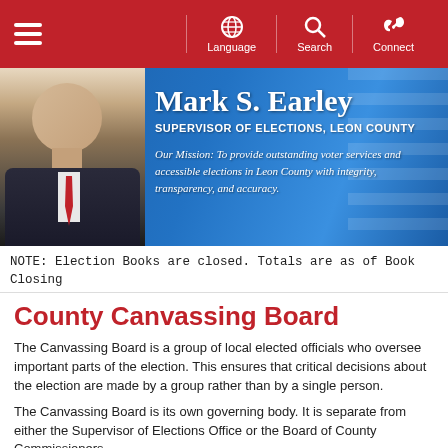Navigation bar with hamburger menu, Language, Search, Connect icons
[Figure (infographic): Banner header with photo of Mark S. Earley, name, title Supervisor of Elections Leon County, and mission statement]
NOTE: Election Books are closed. Totals are as of Book Closing
County Canvassing Board
The Canvassing Board is a group of local elected officials who oversee important parts of the election. This ensures that critical decisions about the election are made by a group rather than by a single person.
The Canvassing Board is its own governing body. It is separate from either the Supervisor of Elections Office or the Board of County Commissioners.
The Leon County Supervisor of Elections Office supplies administrative and clerical support to the Canvassing Board.